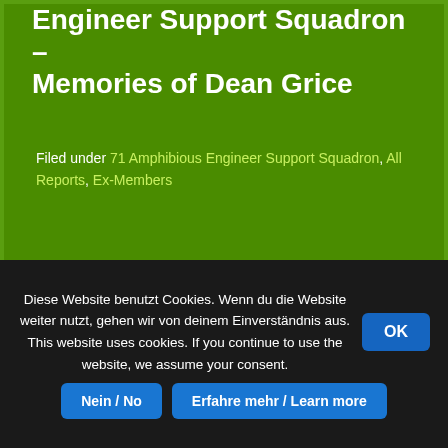Engineer Support Squadron – Memories of Dean Grice
Filed under 71 Amphibious Engineer Support Squadron, All Reports, Ex-Members
[Figure (photo): A blurred horizontal image, appears to be a narrow landscape photo or object on a green background]
Diese Website benutzt Cookies. Wenn du die Website weiter nutzt, gehen wir von deinem Einverständnis aus. This website uses cookies. If you continue to use the website, we assume your consent.